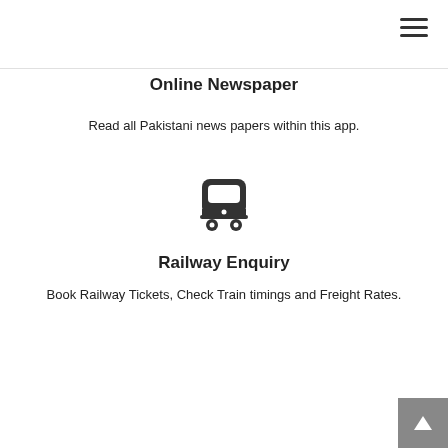[Figure (illustration): Hamburger menu icon (three horizontal lines) in top right corner]
Online Newspaper
Read all Pakistani news papers within this app.
[Figure (illustration): Train/railway icon — front view of a train car with window and wheels]
Railway Enquiry
Book Railway Tickets, Check Train timings and Freight Rates.